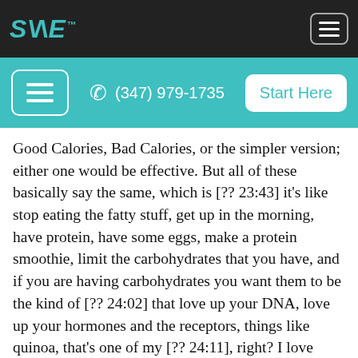[Figure (logo): SANE logo in teal italic bold text on dark background]
[Figure (screenshot): Hamburger menu button icon in dark top nav bar]
[Figure (screenshot): Teal sub-navigation bar with hamburger button, phone number (347) 979-1735, and Start Here button]
Good Calories, Bad Calories, or the simpler version; either one would be effective. But all of these basically say the same, which is [?? 23:43] it's like stop eating the fatty stuff, get up in the morning, have protein, have some eggs, make a protein smoothie, limit the carbohydrates that you have, and if you are having carbohydrates you want them to be the kind of [?? 24:02] that love up your DNA, love up your hormones and the receptors, things like quinoa, that's one of my [?? 24:11], right? I love quinoa. I love oatmeal, I love oat groats. I think they're totally cool. That's a really simple needle-mover, and you probably have other